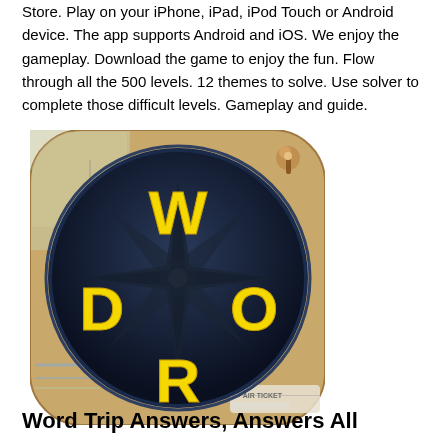Store. Play on your iPhone, iPad, iPod Touch or Android device. The app supports Android and iOS. We enjoy the gameplay. Download the game to enjoy the fun. Flow through all the 500 levels. 12 themes to solve. Use solver to complete those difficult levels. Gameplay and guide.
[Figure (illustration): App icon for Word Trip game showing a compass rose on a dark navy blue circular background with yellow letters W, O, R, D arranged around the compass. The icon has rounded corners and a travel/adventure theme with maps and an air ticket visible in the background.]
Word Trip Answers, Answers All